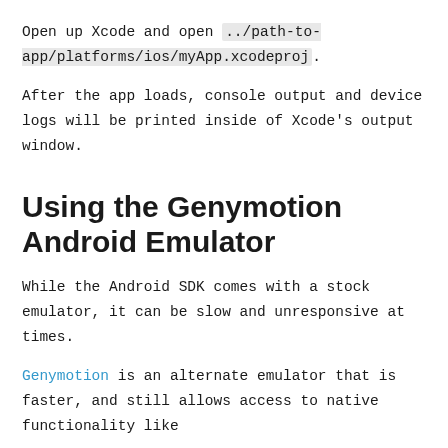Open up Xcode and open ../path-to-app/platforms/ios/myApp.xcodeproj.
After the app loads, console output and device logs will be printed inside of Xcode's output window.
Using the Genymotion Android Emulator
While the Android SDK comes with a stock emulator, it can be slow and unresponsive at times.
Genymotion is an alternate emulator that is faster, and still allows access to native functionality like